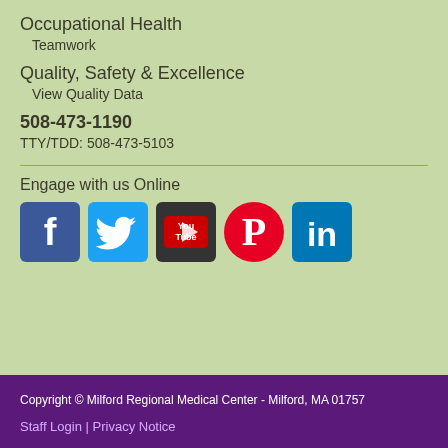Occupational Health
Teamwork
Quality, Safety & Excellence
View Quality Data
508-473-1190
TTY/TDD: 508-473-5103
Engage with us Online
[Figure (infographic): Social media icons: Facebook, Twitter, YouTube, Pinterest, LinkedIn]
Copyright © Milford Regional Medical Center - Milford, MA 01757
Staff Login | Privacy Notice